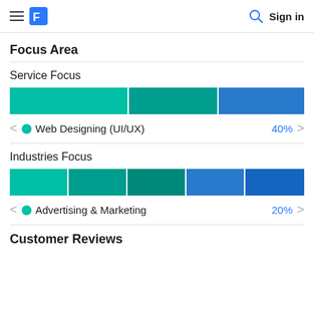Sign in
Focus Area
Service Focus
[Figure (stacked-bar-chart): Service Focus]
Web Designing (UI/UX) 40%
Industries Focus
[Figure (stacked-bar-chart): Industries Focus]
Advertising & Marketing 20%
Customer Reviews